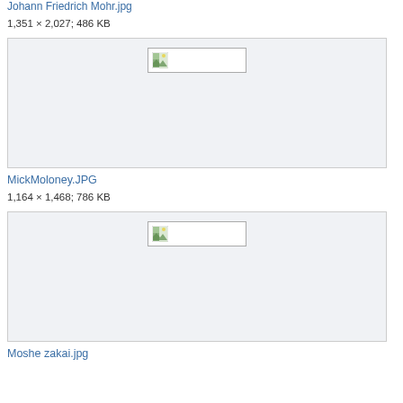Johann Friedrich Mohr.jpg
1,351 × 2,027; 486 KB
[Figure (photo): Placeholder broken image thumbnail for Johann Friedrich Mohr.jpg in a light gray bordered box]
MickMoloney.JPG
1,164 × 1,468; 786 KB
[Figure (photo): Placeholder broken image thumbnail for MickMoloney.JPG in a light gray bordered box]
Moshe zakai.jpg